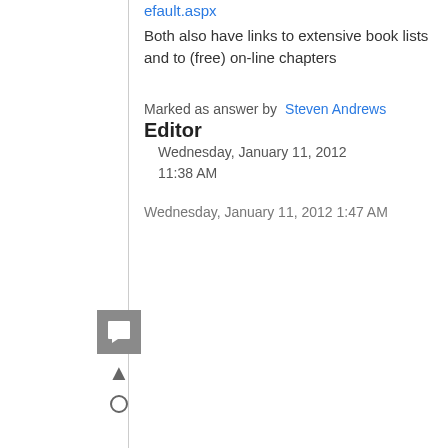efault.aspx
Both also have links to extensive book lists and to (free) on-line chapters
Marked as answer by  Steven Andrews
Editor
Wednesday, January 11, 2012 11:38 AM
Wednesday, January 11, 2012 1:47 AM
[Figure (other): Reply/comment icon (square speech bubble) and vote up/down arrows]